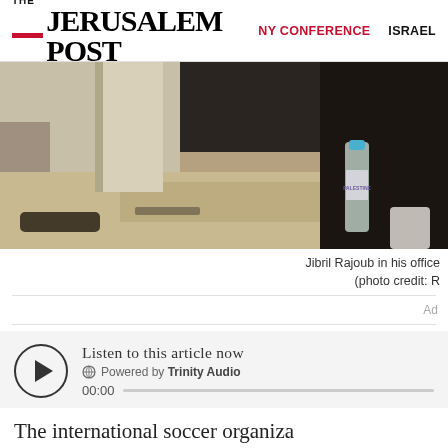THE JERUSALEM POST | NY CONFERENCE | ISRAEL
[Figure (photo): Blurred photo showing a room interior with beige carpet, a water bottle with blue cap labeled 'Palestine', and dark-clothed figure in background]
Jibril Rajoub in his office
(photo credit: R
Ad
[Figure (other): Audio player widget: play button circle, 'Listen to this article now', Powered by Trinity Audio, 00:00 with progress bar]
The international organiza